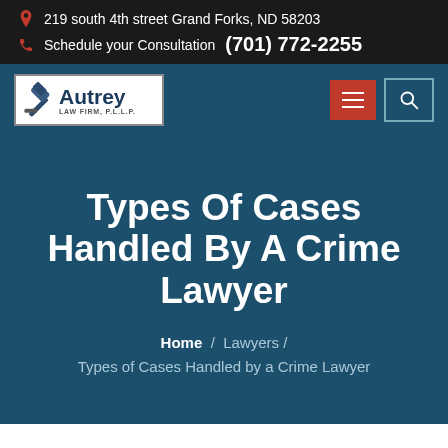219 south 4th street Grand Forks, ND 58203
Schedule your Consultation (701) 772-2255
[Figure (logo): Autrey Law Firm, P.L.L.P. logo with gavel icon]
Types Of Cases Handled By A Crime Lawyer
Home / Lawyers / Types of Cases Handled by a Crime Lawyer